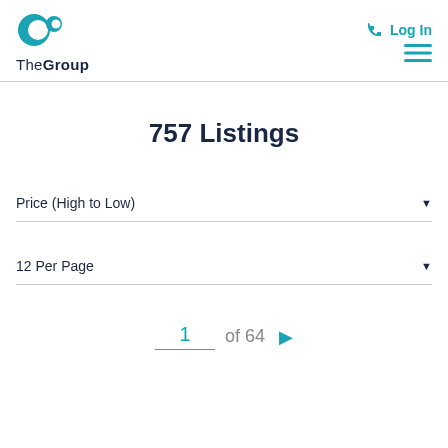TheGroup — Log In
757 Listings
Price (High to Low)
12 Per Page
1 of 64